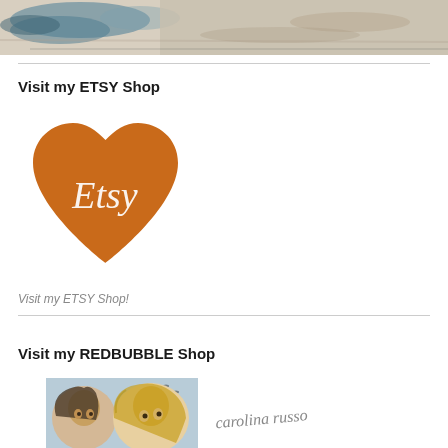[Figure (photo): Watercolor painting strip showing abstract nature scene with blues, greens and beige tones at the top of the page]
Visit my ETSY Shop
[Figure (logo): Etsy logo — orange heart shape with white 'Etsy' text in a serif/script font inside]
Visit my ETSY Shop!
Visit my REDBUBBLE Shop
[Figure (illustration): Two illustrated women with flowing hair and decorative details in a detailed drawing style, with birds in background]
[Figure (illustration): Handwritten signature reading 'carolina russo' in cursive script]